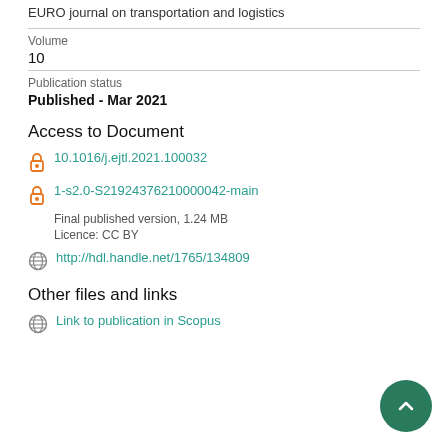EURO journal on transportation and logistics
Volume
10
Publication status
Published - Mar 2021
Access to Document
10.1016/j.ejtl.2021.100032
1-s2.0-S21924376210000042-main
Final published version, 1.24 MB
Licence: CC BY
http://hdl.handle.net/1765/134809
Other files and links
Link to publication in Scopus